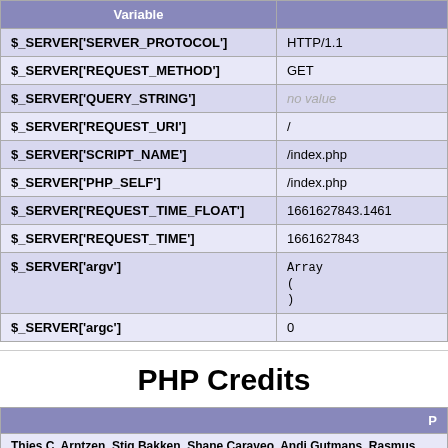| Variable |  |
| --- | --- |
| $_SERVER['SERVER_PROTOCOL'] | HTTP/1.1 |
| $_SERVER['REQUEST_METHOD'] | GET |
| $_SERVER['QUERY_STRING'] | no value |
| $_SERVER['REQUEST_URI'] | / |
| $_SERVER['SCRIPT_NAME'] | /index.php |
| $_SERVER['PHP_SELF'] | /index.php |
| $_SERVER['REQUEST_TIME_FLOAT'] | 1661627843.1461 |
| $_SERVER['REQUEST_TIME'] | 1661627843 |
| $_SERVER['argv'] | Array
(
) |
| $_SERVER['argc'] | 0 |
PHP Credits
| P |
| --- |
| Thies C. Arntzen, Stig Bakken, Shane Caraveo, Andi Gutmans, Rasmus Lerd |
| Language |
| --- |
| Andi Gutmans, Rasmus Lerd [...] Saechi Marco, Ras |